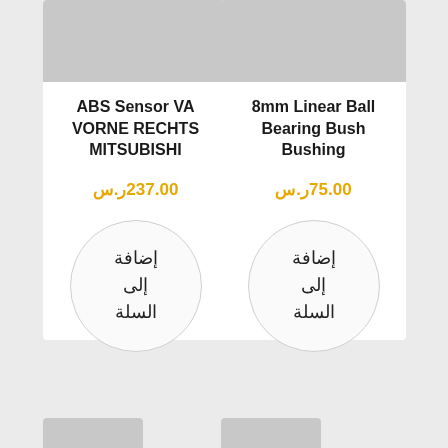[Figure (screenshot): Product listing page showing two product cards: 'ABS Sensor VA VORNE RECHTS MITSUBISHI' priced at ر.س237.00, and '8mm Linear Ball Bearing Bush Bushing' priced at ر.س75.00, each with an 'إضافة إلى السلة' (Add to Cart) button.]
ABS Sensor VA VORNE RECHTS MITSUBISHI
ر.س237.00
إضافة إلى السلة
8mm Linear Ball Bearing Bush Bushing
ر.س75.00
إضافة إلى السلة